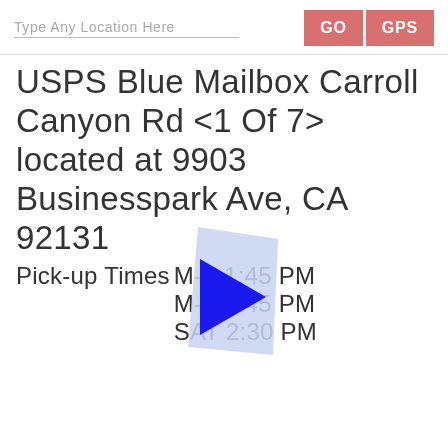Type Any Location Here | GO | GPS
USPS Blue Mailbox Carroll Canyon Rd <1 Of 7> located at 9903 Businesspark Ave, CA 92131
[Figure (illustration): Blue map pin / location arrow icon overlaid on a light blue quadrilateral shape, partially obscuring text]
Pick-up Times M-F 1:45 PM
M-F 4:45 PM
SAT 2:30 PM